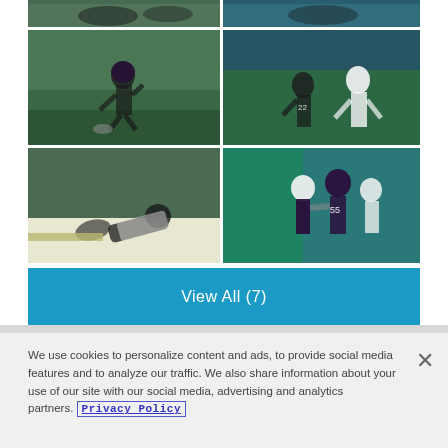[Figure (photo): Top row: two NFL football action photos showing players on a green field]
[Figure (photo): Middle row left: Ravens player running with football on green field]
[Figure (photo): Middle row right: Ravens and Eagles players in action on field]
[Figure (photo): Bottom row left: Ravens player diving/catching ball]
[Figure (photo): Bottom row right: Ravens players celebrating on sideline]
View All (7)
We use cookies to personalize content and ads, to provide social media features and to analyze our traffic. We also share information about your use of our site with our social media, advertising and analytics partners. Privacy Policy